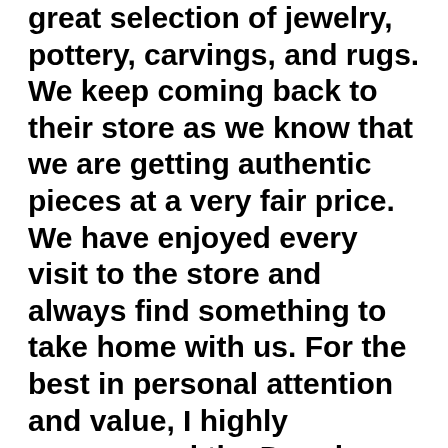great selection of jewelry, pottery, carvings, and rugs. We keep coming back to their store as we know that we are getting authentic pieces at a very fair price. We have enjoyed every visit to the store and always find something to take home with us. For the best in personal attention and value, I highly recommend the Dennis June Gallery.
Like
Sylvia Jordan
I highly recommend visiting